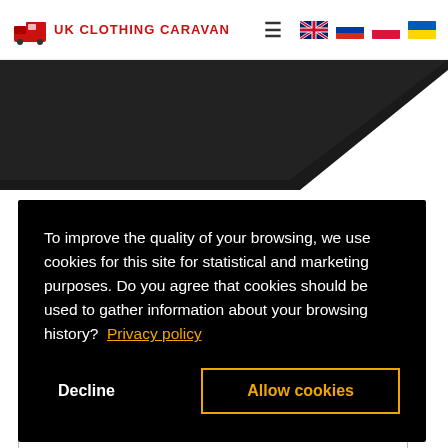[Figure (logo): UK Clothing Caravan logo with caravan truck icon in red and text 'UK CLOTHING CARAVAN' in red capitals, plus navigation hamburger menu and four country flags (UK, Russia, Poland, Ukraine)]
[Figure (illustration): Dark black triangular/chevron banner shape against white background, decorative header image]
To improve the quality of your browsing, we use cookies for this site for statistical and marketing purposes. Do you agree that cookies should be used to gather information about your browsing history?  Privacy policy
Decline
Allow cookies